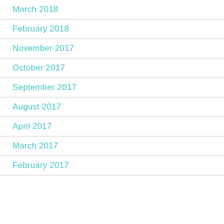March 2018
February 2018
November 2017
October 2017
September 2017
August 2017
April 2017
March 2017
February 2017